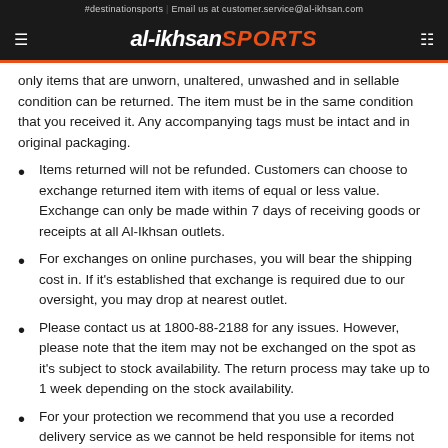#destinationsports | Email us at customer.service@al-ikhsan.com
al-ikhsan SPORTS
only items that are unworn, unaltered, unwashed and in sellable condition can be returned. The item must be in the same condition that you received it. Any accompanying tags must be intact and in original packaging.
Items returned will not be refunded. Customers can choose to exchange returned item with items of equal or less value. Exchange can only be made within 7 days of receiving goods or receipts at all Al-Ikhsan outlets.
For exchanges on online purchases, you will bear the shipping cost in. If it's established that exchange is required due to our oversight, you may drop at nearest outlet.
Please contact us at 1800-88-2188 for any issues. However, please note that the item may not be exchanged on the spot as it's subject to stock availability. The return process may take up to 1 week depending on the stock availability.
For your protection we recommend that you use a recorded delivery service as we cannot be held responsible for items not received.